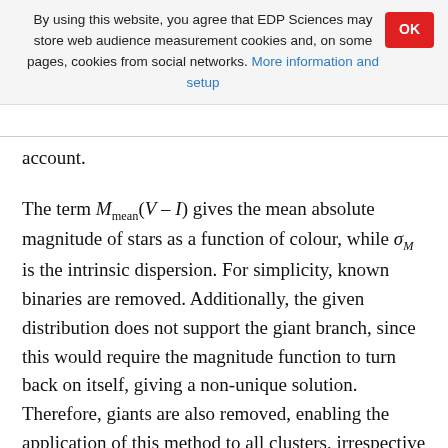By using this website, you agree that EDP Sciences may store web audience measurement cookies and, on some pages, cookies from social networks. More information and setup
account.
The term M_mean(V – I) gives the mean absolute magnitude of stars as a function of colour, while σ_M is the intrinsic dispersion. For simplicity, known binaries are removed. Additionally, the given distribution does not support the giant branch, since this would require the magnitude function to turn back on itself, giving a non-unique solution. Therefore, giants are also removed, enabling the application of this method to all clusters, irrespective of age.
The fitting procedure has two options: